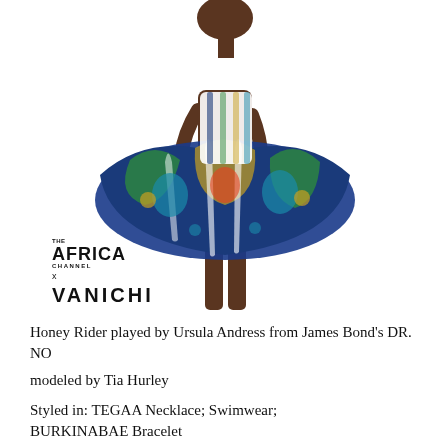[Figure (photo): A model wearing a vibrant multicolored printed dress with a full skirt that billows out dramatically, photographed against a white background. The Africa Channel x Vanichi logo appears to the left mid-frame.]
Honey Rider played by Ursula Andress from James Bond's DR. NO
modeled by Tia Hurley
Styled in: TEGAA Necklace; Swimwear; BURKINABAE Bracelet